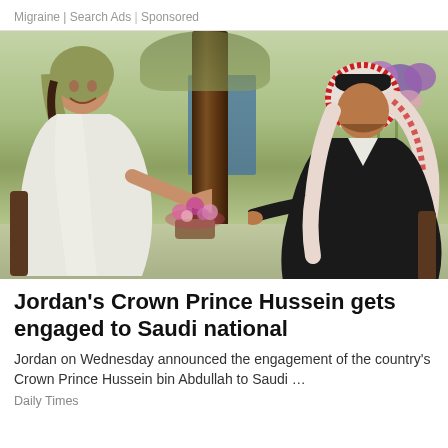Migraine | Search Ads | Sponsored
[Figure (photo): Engagement photo of Crown Prince Hussein of Jordan and his Saudi fiancée, sitting facing each other and exchanging rings, with a tree and flowers in the background.]
Jordan's Crown Prince Hussein gets engaged to Saudi national
Jordan on Wednesday announced the engagement of the country's Crown Prince Hussein bin Abdullah to Saudi …
Daily Times